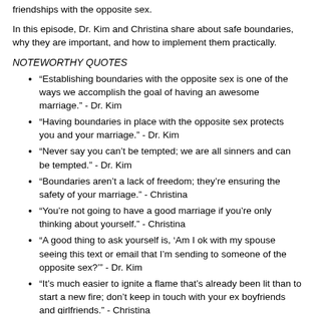friendships with the opposite sex.
In this episode, Dr. Kim and Christina share about safe boundaries, why they are important, and how to implement them practically.
NOTEWORTHY QUOTES
“Establishing boundaries with the opposite sex is one of the ways we accomplish the goal of having an awesome marriage.” - Dr. Kim
“Having boundaries in place with the opposite sex protects you and your marriage.” - Dr. Kim
“Never say you can’t be tempted; we are all sinners and can be tempted.” - Dr. Kim
“Boundaries aren’t a lack of freedom; they’re ensuring the safety of your marriage.” - Christina
“You’re not going to have a good marriage if you’re only thinking about yourself.” - Christina
“A good thing to ask yourself is, ‘Am I ok with my spouse seeing this text or email that I’m sending to someone of the opposite sex?’” - Dr. Kim
“It’s much easier to ignite a flame that’s already been lit than to start a new fire; don’t keep in touch with your ex boyfriends and girlfriends.” - Christina
SPONSORS
The hosts to Plant Rockey of anonymous this podcast episode! With